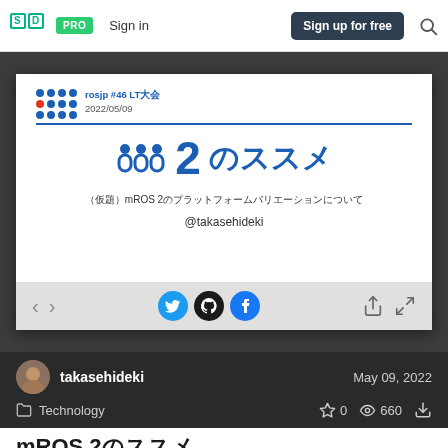SpeakerDeck — PRO  Sign in  Sign up for free
[Figure (screenshot): Slide preview showing mROS 2 presentation title slide with dots logo, title 'm2 のススメ', subtitle '（仮題）mROS 2のプラットフォームバリエーションについて', author '@takasehideki', and social sharing icons bar]
takasehideki   May 09, 2022
Technology   ☆ 0   👁 660   ⬇
mROS 2のススメ